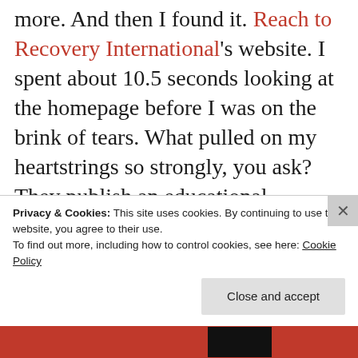more. And then I found it. Reach to Recovery International's website. I spent about 10.5 seconds looking at the homepage before I was on the brink of tears. What pulled on my heartstrings so strongly, you ask? They publish an educational newsletter called BLOOM which "promotes the exchange of current information on training, advocacy, research, volunteer and peer support." Sounds a little like Rock the Gear, eh?  To
Privacy & Cookies: This site uses cookies. By continuing to use this website, you agree to their use.
To find out more, including how to control cookies, see here: Cookie Policy
Close and accept